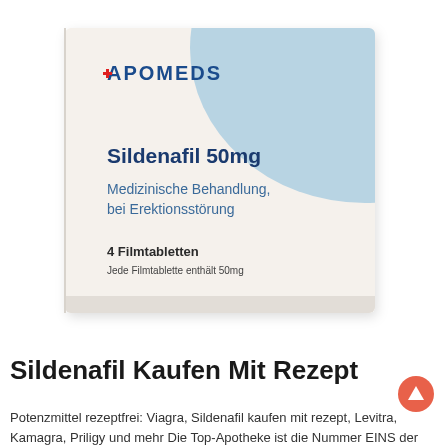[Figure (photo): Apomeds Sildenafil 50mg medication box. White/cream box with light blue curved design element in top-right corner. Text on box: APOMEDS logo (with red cross on A), 'Sildenafil 50mg' in bold dark blue, 'Medizinische Behandlung, bei Erektionsstörung' in medium blue, '4 Filmtabletten' and 'Jede Filmtablette enthält 50mg' in dark text at bottom.]
Sildenafil Kaufen Mit Rezept
Potenzmittel rezeptfrei: Viagra, Sildenafil kaufen mit rezept, Levitra, Kamagra, Priligy und mehr Die Top-Apotheke ist die Nummer EINS der